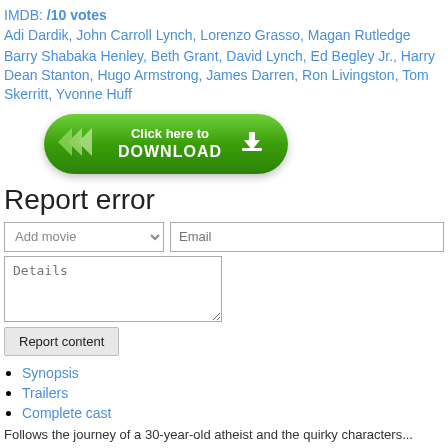IMDB: /10 votes
Adi Dardik, John Carroll Lynch, Lorenzo Grasso, Magan Rutledge
Barry Shabaka Henley, Beth Grant, David Lynch, Ed Begley Jr., Harry Dean Stanton, Hugo Armstrong, James Darren, Ron Livingston, Tom Skerritt, Yvonne Huff
[Figure (other): Green rounded download button with chevron arrows and download icon, text: Click here to DOWNLOAD]
Report error
[Figure (other): Web form with Add movie dropdown, Email input, Details textarea, and Report content button]
Synopsis
Trailers
Complete cast
Follows the journey of a 30-year-old atheist and the quirky characters...